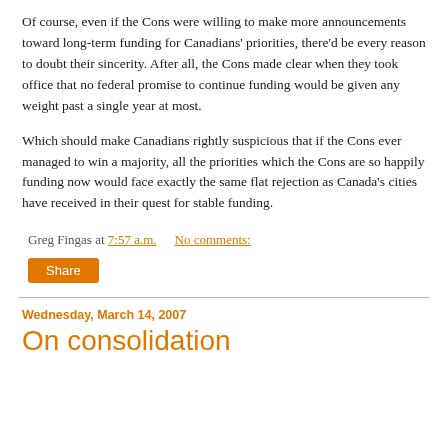Of course, even if the Cons were willing to make more announcements toward long-term funding for Canadians' priorities, there'd be every reason to doubt their sincerity. After all, the Cons made clear when they took office that no federal promise to continue funding would be given any weight past a single year at most.
Which should make Canadians rightly suspicious that if the Cons ever managed to win a majority, all the priorities which the Cons are so happily funding now would face exactly the same flat rejection as Canada's cities have received in their quest for stable funding.
Greg Fingas at 7:57 a.m.   No comments:
Share
Wednesday, March 14, 2007
On consolidation